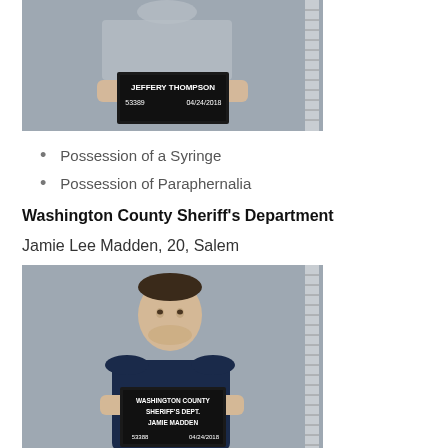[Figure (photo): Mugshot of Jeffery Thompson, booking number 53389, dated 04/24/2018, holding a sign reading JEFFERY THOMPSON 53389 04/24/2018]
Possession of a Syringe
Possession of Paraphernalia
Washington County Sheriff's Department
Jamie Lee Madden, 20, Salem
[Figure (photo): Mugshot of Jamie Madden, booking number 53388, dated 04/24/2018, holding a sign reading WASHINGTON COUNTY SHERIFF'S DEPT. JAMIE MADDEN 53388 04/24/2018]